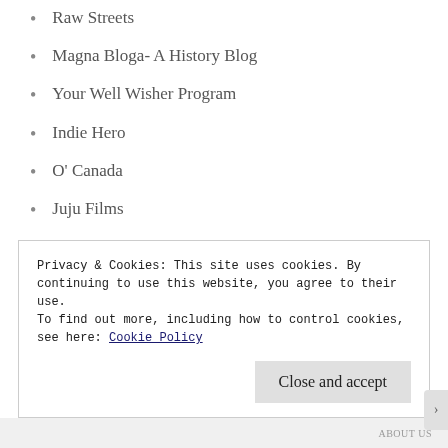Raw Streets
Magna Bloga- A History Blog
Your Well Wisher Program
Indie Hero
O' Canada
Juju Films
euzicasa
Simple Pleasures
Project Light to Life
Jumbled Writer – Charlie Dims
TheCoevas official blog
Privacy & Cookies: This site uses cookies. By continuing to use this website, you agree to their use. To find out more, including how to control cookies, see here: Cookie Policy
Close and accept